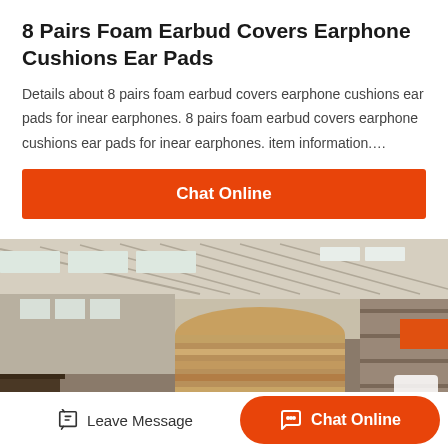8 Pairs Foam Earbud Covers Earphone Cushions Ear Pads
Details about 8 pairs foam earbud covers earphone cushions ear pads for inear earphones. 8 pairs foam earbud covers earphone cushions ear pads for inear earphones. item information….
Chat Online
[Figure (photo): Industrial factory interior showing large cylindrical rolls of material (possibly metal or foam) stacked in a warehouse with metal roof structure visible]
Leave Message
Chat Online